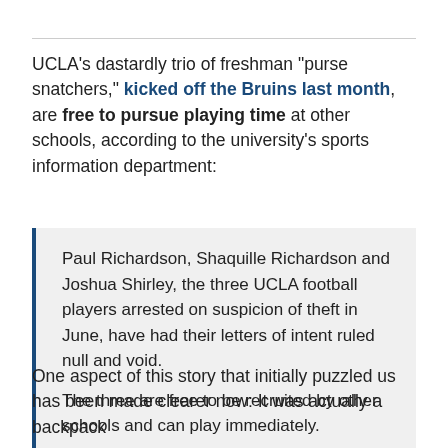UCLA's dastardly trio of freshman "purse snatchers," kicked off the Bruins last month, are free to pursue playing time at other schools, according to the university's sports information department:
Paul Richardson, Shaquille Richardson and Joshua Shirley, the three UCLA football players arrested on suspicion of theft in June, have had their letters of intent ruled null and void.

The three are free to be recruited by other schools and can play immediately.
One aspect of this story that initially puzzled us has been made clearer now: It was actually a backpack